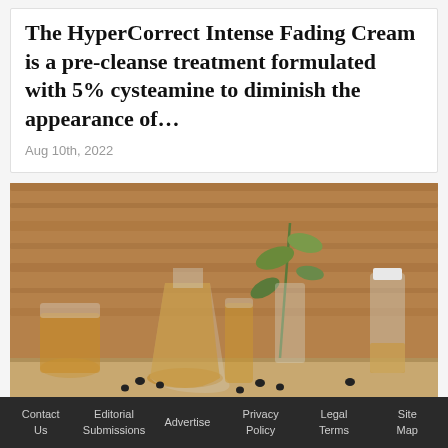The HyperCorrect Intense Fading Cream is a pre-cleanse treatment formulated with 5% cysteamine to diminish the appearance of…
Aug 10th, 2022
[Figure (photo): Laboratory glassware including flasks and beakers containing amber/golden liquids, with a plant sprig, arranged on a wooden surface with a wood-grain background.]
INGREDIENTS
New Research Relates Ingredients and Skin Barrier...
Contact Us   Editorial Submissions   Advertise   Privacy Policy   Legal Terms   Site Map